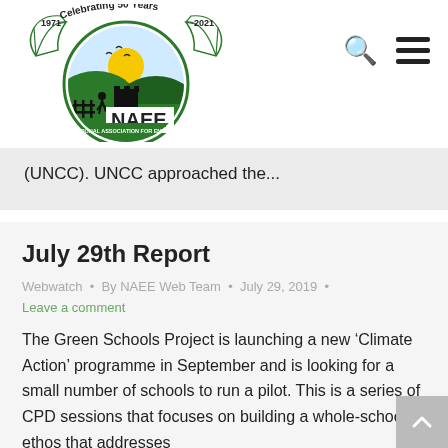[Figure (logo): NAEE (National Association for Environmental Education UK) logo with 'Celebrating 50 Years 1971-2021' banner. Green circular emblem with sun, mountains, silhouettes, and birds. Text: 'Registered charity no. 1166502']
(UNCC). UNCC approached the...
July 29th Report
Webwatch · By NAEE Web Team · July 29, 2019 · Leave a comment
The Green Schools Project is launching a new 'Climate Action' programme in September and is looking for a small number of schools to run a pilot. This is a series of CPD sessions that focuses on building a whole-school ethos that addresses